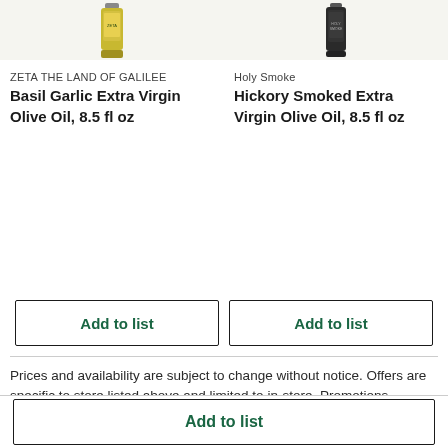[Figure (photo): Product image of Zeta The Land of Galilee Basil Garlic Extra Virgin Olive Oil bottle (partial, top portion)]
[Figure (photo): Product image of Holy Smoke Hickory Smoked Extra Virgin Olive Oil bottle (partial, top portion, dark packaging)]
ZETA THE LAND OF GALILEE
Basil Garlic Extra Virgin Olive Oil, 8.5 fl oz
Holy Smoke
Hickory Smoked Extra Virgin Olive Oil, 8.5 fl oz
Add to list
Add to list
Prices and availability are subject to change without notice. Offers are specific to store listed above and limited to in-store. Promotions, discounts, and offers available in stores may not be available for online orders. The information provided on this website, including special diets and nutritional information, is for reference purposes and not intended as medical or healthcare information or advice.
Add to list